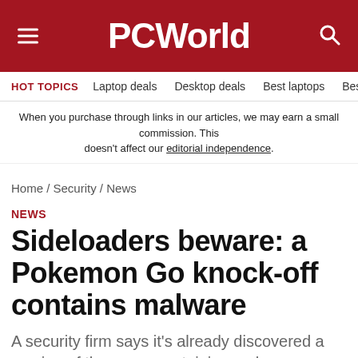PCWorld
HOT TOPICS  Laptop deals  Desktop deals  Best laptops  Best ch
When you purchase through links in our articles, we may earn a small commission. This doesn't affect our editorial independence.
Home / Security / News
NEWS
Sideloaders beware: a Pokemon Go knock-off contains malware
A security firm says it's already discovered a version of the game containing malware